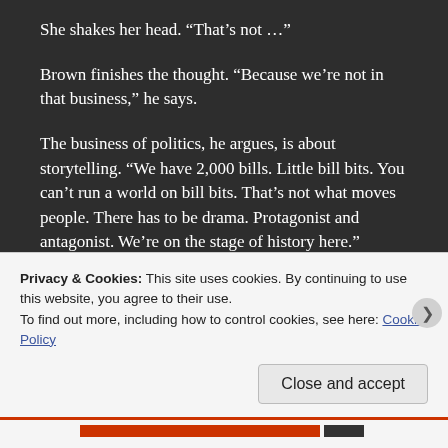She shakes her head. “That’s not …”
Brown finishes the thought. “Because we’re not in that business,” he says.
The business of politics, he argues, is about storytelling. “We have 2,000 bills. Little bill bits. You can’t run a world on bill bits. That’s not what moves people. There has to be drama. Protagonist and antagonist. We’re on the stage of history here.”
So now he’s trying to tell a simple story about California’s
Privacy & Cookies: This site uses cookies. By continuing to use this website, you agree to their use.
To find out more, including how to control cookies, see here: Cookie Policy
Close and accept